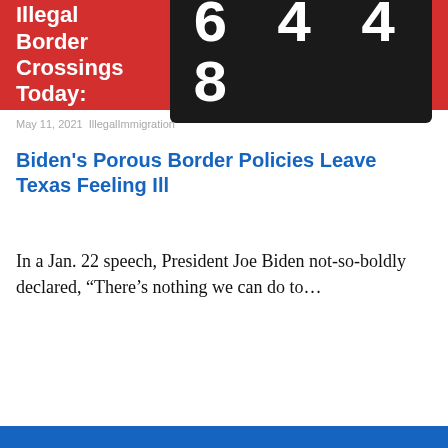Illegal Border Crossings Today: 6448
May 11, 2021 IllegalImmigration
Biden's Porous Border Policies Leave Texas Feeling Ill
In a Jan. 22 speech, President Joe Biden not-so-boldly declared, “There’s nothing we can do to…
Pagination: 1 2 3 » ►